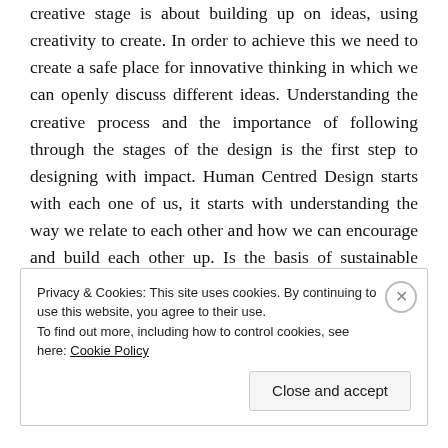creative stage is about building up on ideas, using creativity to create. In order to achieve this we need to create a safe place for innovative thinking in which we can openly discuss different ideas. Understanding the creative process and the importance of following through the stages of the design is the first step to designing with impact. Human Centred Design starts with each one of us, it starts with understanding the way we relate to each other and how we can encourage and build each other up. Is the basis of sustainable development about building up relationships and working together to create a better future?
Privacy & Cookies: This site uses cookies. By continuing to use this website, you agree to their use.
To find out more, including how to control cookies, see here: Cookie Policy
Close and accept